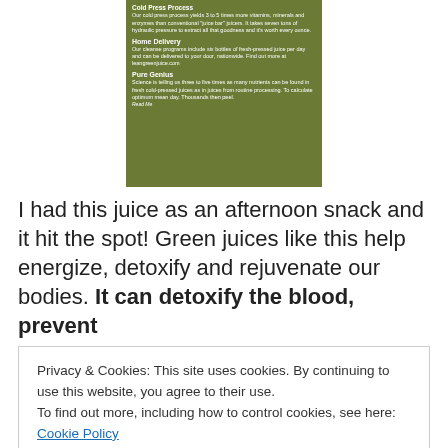[Figure (photo): A green juice bottle showing label text about cold press process, Home Delivery, and Pure Genius sections on an olive-green bottle]
I had this juice as an afternoon snack and it hit the spot! Green juices like this help energize, detoxify and rejuvenate our bodies. It can detoxify the blood, prevent
Privacy & Cookies: This site uses cookies. By continuing to use this website, you agree to their use.
To find out more, including how to control cookies, see here: Cookie Policy
[Close and accept]
to have which days. 🙂 A great option if you want to